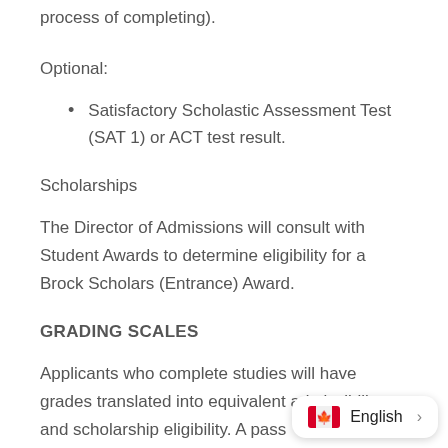process of completing).
Optional:
Satisfactory Scholastic Assessment Test (SAT 1) or ACT test result.
Scholarships
The Director of Admissions will consult with Student Awards to determine eligibility for a Brock Scholars (Entrance) Award.
GRADING SCALES
Applicants who complete studies will have grades translated into equivalent admissibility and scholarship eligibility. A pass